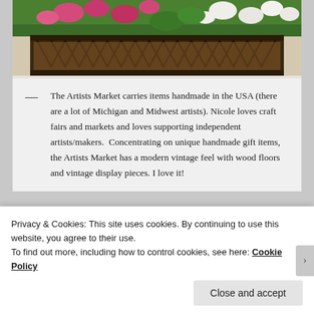[Figure (photo): Photo of a decorative iron window box planter with colorful flowers including pink and white blooms against a light background]
— The Artists Market carries items handmade in the USA (there are a lot of Michigan and Midwest artists). Nicole loves craft fairs and markets and loves supporting independent artists/makers.  Concentrating on unique handmade gift items, the Artists Market has a modern vintage feel with wood floors and vintage display pieces. I love it!
[Figure (photo): Photo of a building exterior with a porch/balcony featuring white railings and posts, green trees visible in the background]
Privacy & Cookies: This site uses cookies. By continuing to use this website, you agree to their use.
To find out more, including how to control cookies, see here: Cookie Policy